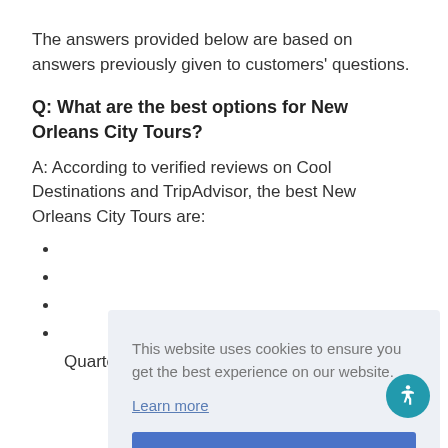The answers provided below are based on answers previously given to customers' questions.
Q: What are the best options for New Orleans City Tours?
A: According to verified reviews on Cool Destinations and TripAdvisor, the best New Orleans City Tours are:
Quarter New Orleans
[Figure (screenshot): Cookie consent banner overlay with text 'This website uses cookies to ensure you get the best experience on our website.', a 'Learn more' link, and an 'OK, got it!' button. An accessibility icon (person in circle) appears bottom-right.]